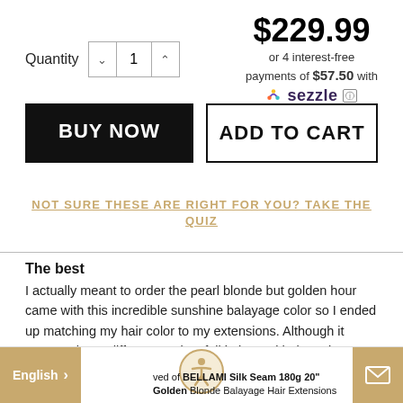$229.99
or 4 interest-free payments of $57.50 with Sezzle
Quantity 1
BUY NOW
ADD TO CART
NOT SURE THESE ARE RIGHT FOR YOU? TAKE THE QUIZ
The best
I actually meant to order the pearl blonde but golden hour came with this incredible sunshine balayage color so I ended up matching my hair color to my extensions. Although it wasn't a huge difference, I just fell in love with the color. Bellami is by far the best extensions I've ever used. It's the perfect amount to make it look fuller + that sil...Read More
English
BELLAMI Silk Seam 180g 20" Golden Blonde Balayage Hair Extensions